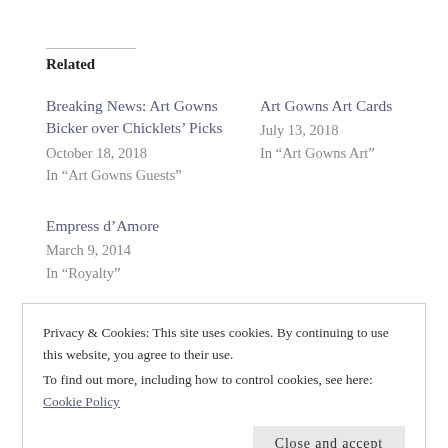Related
Breaking News: Art Gowns Bicker over Chicklets' Picks
October 18, 2018
In "Art Gowns Guests"
Art Gowns Art Cards
July 13, 2018
In "Art Gowns Art"
Empress d’Amore
March 9, 2014
In "Royalty"
Privacy & Cookies: This site uses cookies. By continuing to use this website, you agree to their use.
To find out more, including how to control cookies, see here: Cookie Policy
Close and accept